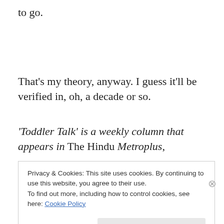to go.
That's my theory, anyway. I guess it'll be verified in, oh, a decade or so.
'Toddler Talk' is a weekly column that appears in The Hindu Metroplus,
Privacy & Cookies: This site uses cookies. By continuing to use this website, you agree to their use.
To find out more, including how to control cookies, see here: Cookie Policy
Close and accept